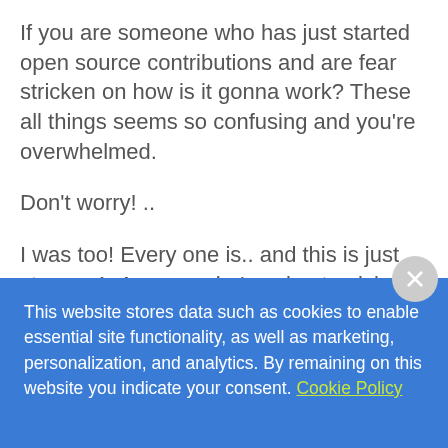If you are someone who has just started open source contributions and are fear stricken on how is it gonna work? These all things seems so confusing and you're overwhelmed.
Don't worry! ..
I was too! Every one is.. and this is just step — 1. Anyone who's going to pick up a new project which is production ready and
This website stores data such as cookies to enable essential site functionality, as well as marketing, personalization, and analytics. By remaining on this website you indicate your consent. Cookie Policy